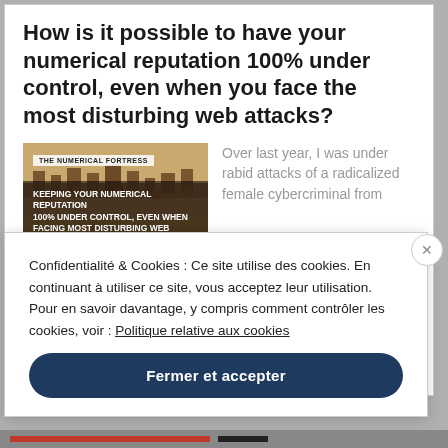How is it possible to have your numerical reputation 100% under control, even when you face the most disturbing web attacks?
[Figure (screenshot): Thumbnail image of a desert fortress/castle with overlay text reading 'THE NUMERICAL FORTRESS' and 'KEEPING YOUR NUMERICAL REPUTATION 100% UNDER CONTROL, EVEN WHEN FACING MOST DISTURBING WEB ATTACKS']
Over last year, I was under rabid attacks of a radicalized female cybercriminal from
Confidentialité & Cookies : Ce site utilise des cookies. En continuant à utiliser ce site, vous acceptez leur utilisation. Pour en savoir davantage, y compris comment contrôler les cookies, voir : Politique relative aux cookies
Fermer et accepter